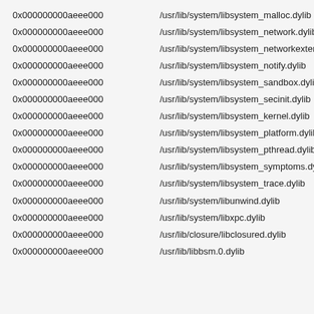0x000000000aeee000   /usr/lib/system/libsystem_malloc.dylib
0x000000000aeee000   /usr/lib/system/libsystem_network.dylib
0x000000000aeee000   /usr/lib/system/libsystem_networkextension
0x000000000aeee000   /usr/lib/system/libsystem_notify.dylib
0x000000000aeee000   /usr/lib/system/libsystem_sandbox.dylib
0x000000000aeee000   /usr/lib/system/libsystem_secinit.dylib
0x000000000aeee000   /usr/lib/system/libsystem_kernel.dylib
0x000000000aeee000   /usr/lib/system/libsystem_platform.dylib
0x000000000aeee000   /usr/lib/system/libsystem_pthread.dylib
0x000000000aeee000   /usr/lib/system/libsystem_symptoms.dylib
0x000000000aeee000   /usr/lib/system/libsystem_trace.dylib
0x000000000aeee000   /usr/lib/system/libunwind.dylib
0x000000000aeee000   /usr/lib/system/libxpc.dylib
0x000000000aeee000   /usr/lib/closure/libclosured.dylib
0x000000000aeee000   /usr/lib/libbsm.0.dylib